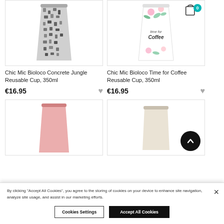[Figure (photo): Chic Mic Bioloco Concrete Jungle reusable cup, grey patterned, 350ml]
[Figure (photo): Chic Mic Bioloco Time for Coffee reusable cup, floral design, 350ml, with cart icon showing 0 items]
Chic Mic Bioloco Concrete Jungle Reusable Cup, 350ml
€16.95
Chic Mic Bioloco Time for Coffee Reusable Cup, 350ml
€16.95
[Figure (photo): Product image partially visible - pink reusable cup]
[Figure (photo): Product image partially visible - cream reusable cup with scroll-to-top button overlay]
By clicking "Accept All Cookies", you agree to the storing of cookies on your device to enhance site navigation, analyze site usage, and assist in our marketing efforts.
Cookies Settings
Accept All Cookies